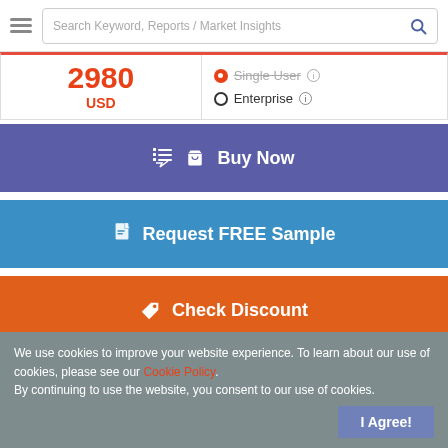Search Keyword, Reports / Market Insights
2980 USD
Single User (selected) | Enterprise
Buy Now
Request FREE Sample
Check Discount
Request Custom Report
We use cookies to improve your website experience. To learn about our use of cookies, please see our Cookie Policy. By continuing to use the website, you consent to our use of cookies.